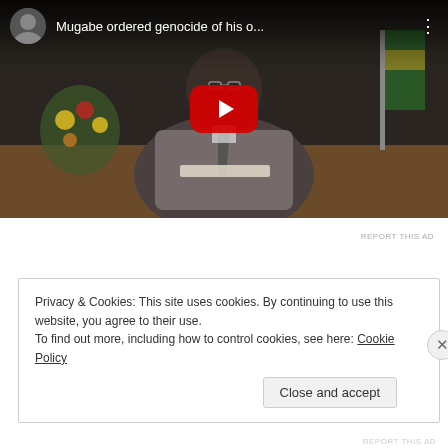[Figure (screenshot): YouTube video thumbnail showing a man in a suit sitting at a desk, with the title 'Mugabe ordered genocide of his o...' and a red play button in the center. A small circular avatar is shown in the top left.]
REPORT THIS AD
Privacy & Cookies: This site uses cookies. By continuing to use this website, you agree to their use.
To find out more, including how to control cookies, see here: Cookie Policy
Close and accept